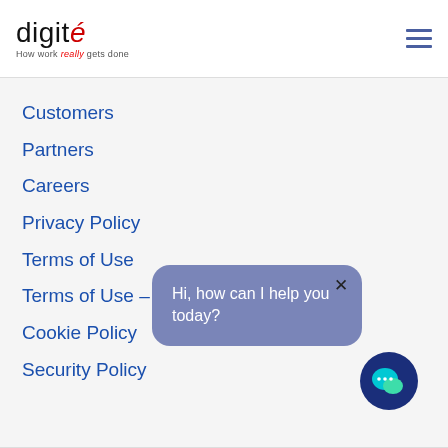[Figure (logo): Digite logo with tagline 'How work really gets done']
[Figure (other): Hamburger menu icon (three horizontal lines)]
Customers
Partners
Careers
Privacy Policy
Terms of Use
Terms of Use – ka
Cookie Policy
Security Policy
[Figure (other): Chat popup bubble with text 'Hi, how can I help you today?' and close X button]
[Figure (other): Chat bot icon button - dark blue circle with speech bubble icon in cyan/green]